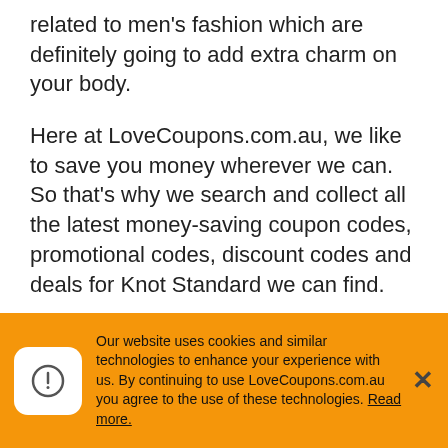related to men's fashion which are definitely going to add extra charm on your body.
Here at LoveCoupons.com.au, we like to save you money wherever we can. So that's why we search and collect all the latest money-saving coupon codes, promotional codes, discount codes and deals for Knot Standard we can find.
LoveCoupons.com.au are here to help you stretch your money a little bit further. So before you head over to the Knot Standard website, take a good look at all our money-saving offers to see what you can save.
Our website uses cookies and similar technologies to enhance your experience with us. By continuing to use LoveCoupons.com.au you agree to the use of these technologies. Read more.